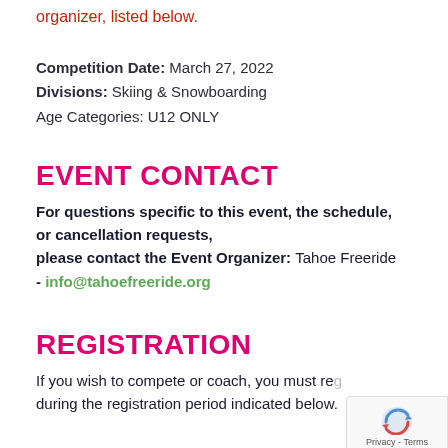organizer, listed below.
Competition Date: March 27, 2022
Divisions: Skiing & Snowboarding
Age Categories: U12 ONLY
EVENT CONTACT
For questions specific to this event, the schedule, or cancellation requests, please contact the Event Organizer: Tahoe Freeride - info@tahoefreerride.org
REGISTRATION
If you wish to compete or coach, you must re... during the registration period indicated below.